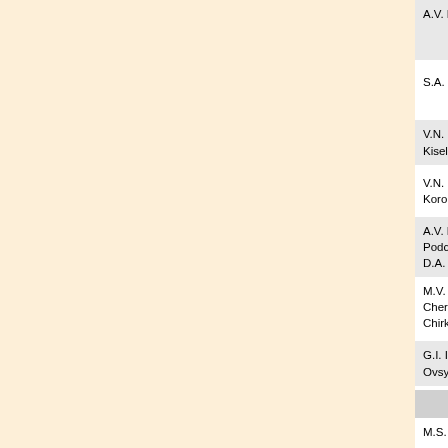| Author(s) | Title |
| --- | --- |
| A.V. Bykovsky | ESTIMATION OF CONSTAN... SYSTEM IN THE CALIBRAT... AND GYROSCOPES |
| S.A. Chernikov, V.V. Fateev | A STUDY OF FRICTIONAL A... SYSTEMS WITH LINEAR PA... |
| V.N. Rusanov, A.Yu. Kiselev, N.V. Sil'yanov | SELF-DIAGNOSABLE THRE... COMPUTING SYSTEM WIT... |
| V.N. Rusanov, S.A. Korolev, N.V. Silyanov | ANALYSIS OF AIRBORNE C... STRUCTURES AND RELIAB... |
| A.V. Kuleshov, V.P. Podchezertsev, V.V. Fateev, D.A. Bordachev | BIAXIAL INDICATOR FLYW... |
| M.V. Borisov, A.I. Chernomorsky, M.V. Chirkin | CHOICE OF PARAMETERS C... LENGTH CONTROL DEVICE... GYROSCOPE |
| G.I. Il'in, V.A. Ovsyannikov, V.L. Filippov | UNIFICATION OF BASIC TE... TELEVISION AND THERMA... |
| CONTROL SYSTEMS, stabilization, navigation, |  |
| M.S. Shelagurova | INCREASE IN SITUATIONA... STAGES OF LAUNCH, PLAN... AT THE EXPENSE OF FORM... SYNTHETIC VISION SYST... |